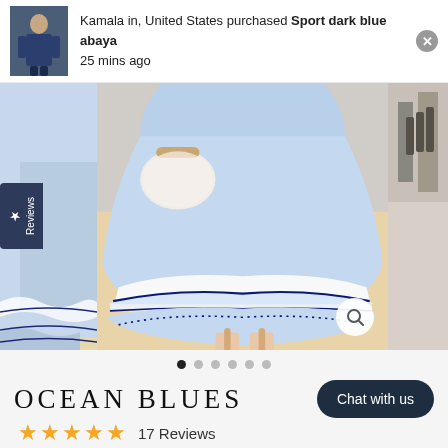Kamala in, United States purchased Sport dark blue abaya
25 mins ago
[Figure (photo): E-commerce product page showing a light blue dress/abaya with white ruffled hem trim and navy detail, woman wearing white heeled sandals. Left and right partial thumbnail images visible. Reviews tab on left side.]
OCEAN BLUES
Chat with us
17 Reviews